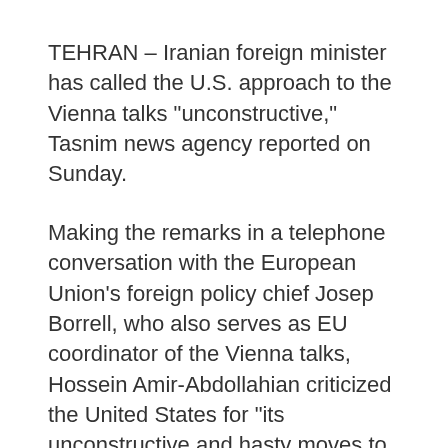TEHRAN – Iranian foreign minister has called the U.S. approach to the Vienna talks "unconstructive," Tasnim news agency reported on Sunday.
Making the remarks in a telephone conversation with the European Union's foreign policy chief Josep Borrell, who also serves as EU coordinator of the Vienna talks, Hossein Amir-Abdollahian criticized the United States for "its unconstructive and hasty moves to get a resolution (recently) approved at the International Atomic Energy Agency's